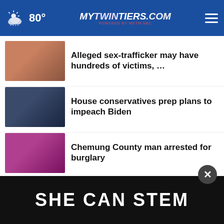MyTwinTiers.com — 80°
Alleged sex-trafficker may have hundreds of victims, …
House conservatives prep plans to impeach Biden
Chemung County man arrested for burglary
Steuben County man arrested after fleeing on stolen …
Is student loan forgiveness taxable? Depends on where …
[Figure (infographic): SHE CAN STEM advertisement banner at bottom of page]